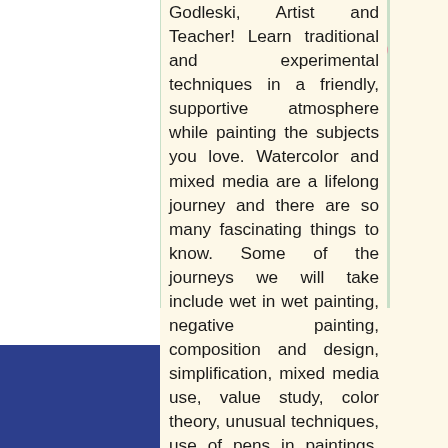[Figure (photo): Watercolor painting of pink flowers and a pear/fruit in a vase, colorful artistic illustration]
Godleski, Artist and Teacher! Learn traditional and experimental techniques in a friendly, supportive atmosphere while painting the subjects you love. Watercolor and mixed media are a lifelong journey and there are so many fascinating things to know. Some of the journeys we will take include wet in wet painting, negative painting, composition and design, simplification, mixed media use, value study, color theory, unusual techniques, use of pens in paintings, leaving the white space and so much more! Subjects will include landscapes, still life, abstract and realism and more. Each class will include demos. You will paint your own original paintings. Imaginative thinking and creativity will b...